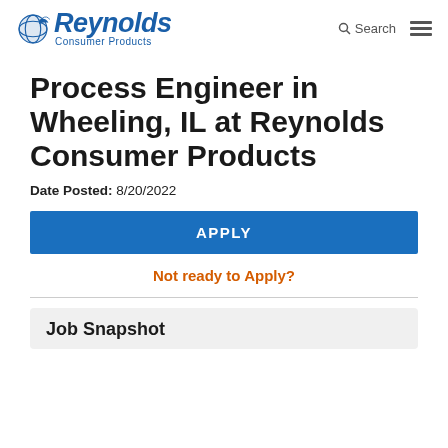Reynolds Consumer Products — Search / Menu
Process Engineer in Wheeling, IL at Reynolds Consumer Products
Date Posted: 8/20/2022
APPLY
Not ready to Apply?
Job Snapshot